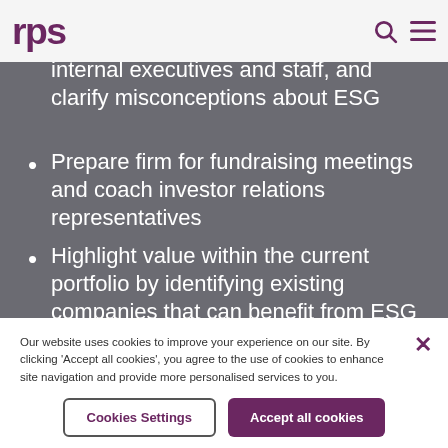RPS
e-tailored ESG training and implementation programs to educate internal executives and staff, and clarify misconceptions about ESG
Prepare firm for fundraising meetings and coach investor relations representatives
Highlight value within the current portfolio by identifying existing companies that can benefit from ESG
Our website uses cookies to improve your experience on our site. By clicking 'Accept all cookies', you agree to the use of cookies to enhance site navigation and provide more personalised services to you.